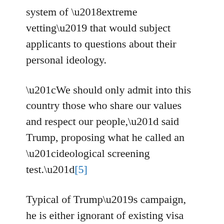system of 'extreme vetting' that would subject applicants to questions about their personal ideology.
“We should only admit into this country those who share our values and respect our people,” said Trump, proposing what he called an “ideological screening test.”[5]
Typical of Trump’s campaign, he is either ignorant of existing visa requirements or deliberately misleading his audience. At least since 9/11, visa applications from all but a few countries, whether work or tourist, require an extensive background check.[6] All green card recipients swear to uphold the American